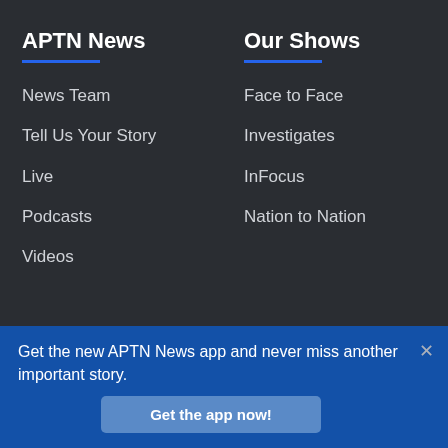APTN News
News Team
Tell Us Your Story
Live
Podcasts
Videos
Our Shows
Face to Face
Investigates
InFocus
Nation to Nation
Connect with APTN
APTN TV
Schedule
Get the new APTN News app and never miss another important story.
Get the app now!